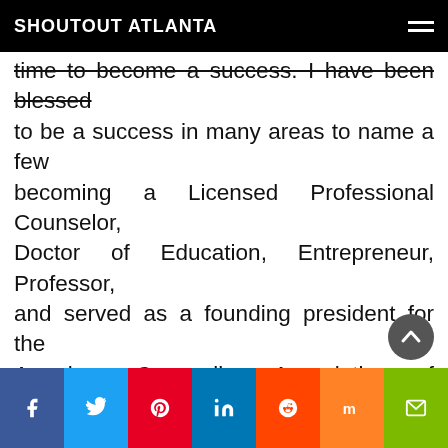SHOUTOUT ATLANTA
time to become a success. I have been blessed to be a success in many areas to name a few becoming a Licensed Professional Counselor, Doctor of Education, Entrepreneur, Professor, and served as a founding president for the American Counseling Association of Georgia. These areas of success continue to shape new successes and levels of leadership in my life. Moving forward has helped me to discover my potential and higher heights of opportunity. I am grateful for the success principle of moving forward and making the decision to do it at such a youthful age. Moving forward despite the obstacles keeps me focused on being my best self!